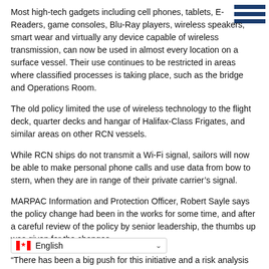Most high-tech gadgets including cell phones, tablets, E-Readers, game consoles, Blu-Ray players, wireless speakers, smart wear and virtually any device capable of wireless transmission, can now be used in almost every location on a surface vessel. Their use continues to be restricted in areas where classified processes is taking place, such as the bridge and Operations Room.
The old policy limited the use of wireless technology to the flight deck, quarter decks and hangar of Halifax-Class Frigates, and similar areas on other RCN vessels.
While RCN ships do not transmit a Wi-Fi signal, sailors will now be able to make personal phone calls and use data from bow to stern, when they are in range of their private carrier’s signal.
MARPAC Information and Protection Officer, Robert Sayle says the policy change had been in the works for some time, and after a careful review of the policy by senior leadership, the thumbs up was given for the changes.
“There has been a big push for this initiative and a risk analysis was recently done by DND to investigate the impacts of permitting these devices on board its vessels,” says Sayle. “Mobile devices are ubiquitous and DND officials in Ottawa have established that the [security] risk is minimal.”
Al… or increased flexibility with regard to the us… aders may authorize increased